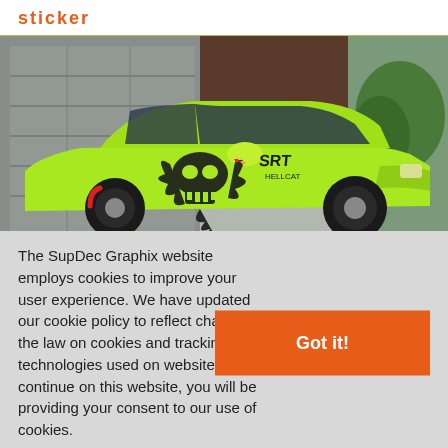sticker
[Figure (photo): A lime green Dodge Challenger SRT Hellcat with a large black skull and cat graphic sticker on the door/side panel, photographed outdoors.]
The SupDec Graphix website employs cookies to improve your user experience. We have updated our cookie policy to reflect changes in the law on cookies and tracking technologies used on websites. If you continue on this website, you will be providing your consent to our use of cookies.
Got it!